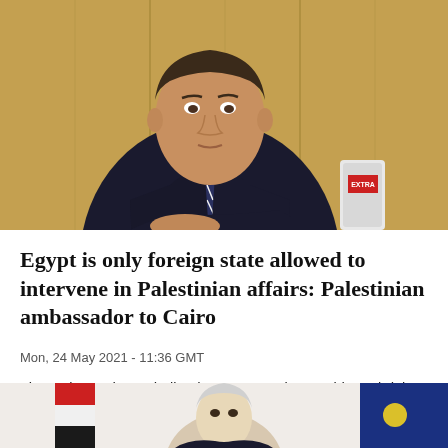[Figure (photo): A man in a dark suit and tie seated at a table speaking, with a microphone visible to his right, background appears to be wood panels]
Egypt is only foreign state allowed to intervene in Palestinian affairs: Palestinian ambassador to Cairo
Mon, 24 May 2021 - 11:36 GMT
The ambassador underlined a statement by President Abdel Fatah al-Sisi whereas he said that Egypt is a partner to Palestine and never solely a mediator.
[Figure (photo): Partial view of a second news article photo showing people, with flags visible]